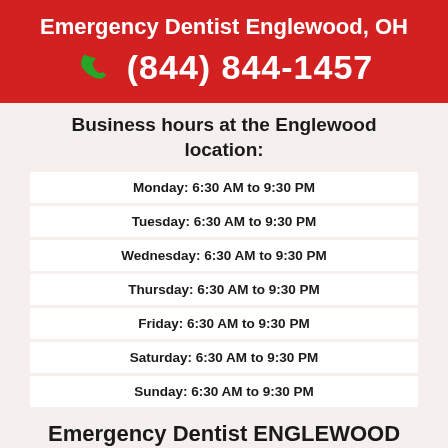Emergency Dentist Englewood, OH
(844) 844-1457
Business hours at the Englewood location:
| Monday: 6:30 AM to 9:30 PM |
| Tuesday: 6:30 AM to 9:30 PM |
| Wednesday: 6:30 AM to 9:30 PM |
| Thursday: 6:30 AM to 9:30 PM |
| Friday: 6:30 AM to 9:30 PM |
| Saturday: 6:30 AM to 9:30 PM |
| Sunday: 6:30 AM to 9:30 PM |
Emergency Dentist ENGLEWOOD
ENGLEWOOD's urgent care dentist
ENGLEWOOD, OH